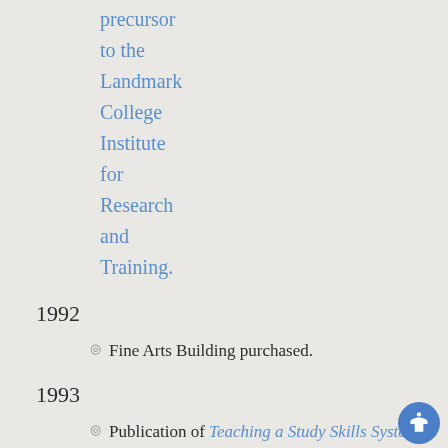precursor to the Landmark College Institute for Research and Training.
1992
Fine Arts Building purchased.
1993
Publication of Teaching a Study Skills System That Works!
1994
Lynda J. Katz, Ph.D., inaugurated as the College...